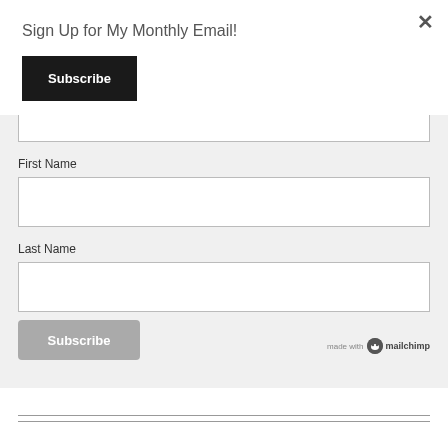Sign Up for My Monthly Email!
×
[Figure (screenshot): Subscribe button (black) at top of modal]
First Name
Last Name
[Figure (screenshot): Gray Subscribe button at bottom of form with Mailchimp badge]
[Figure (logo): Made with Mailchimp logo badge]